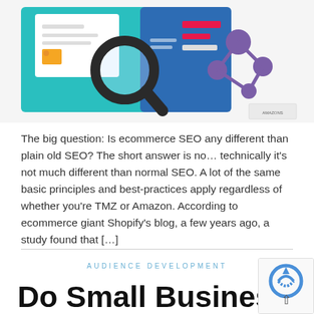[Figure (illustration): SEO and ecommerce themed illustration with magnifying glass over a webpage, and a purple connected nodes/graph icon on teal and blue backgrounds. Small logo badge in bottom-right corner of image.]
The big question: Is ecommerce SEO any different than plain old SEO? The short answer is no… technically it's not much different than normal SEO. A lot of the same basic principles and best-practices apply regardless of whether you're TMZ or Amazon. According to ecommerce giant Shopify's blog, a few years ago, a study found that […]
AUDIENCE DEVELOPMENT
Do Small Business